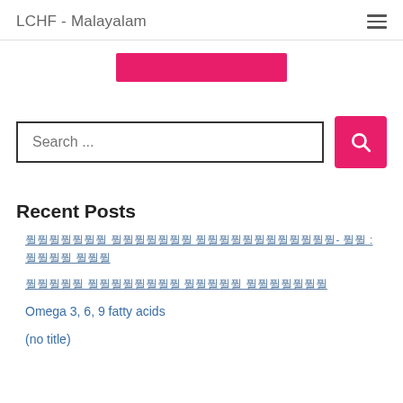LCHF - Malayalam
[Figure (other): Pink/magenta horizontal button banner partially visible at top of content area]
[Figure (screenshot): Search input field with placeholder text 'Search ...' and pink search button with magnifying glass icon]
Recent Posts
Malayalam script link 1 (long text with dash and additional words)
Malayalam script link 2
Omega 3, 6, 9 fatty acids
(no title)